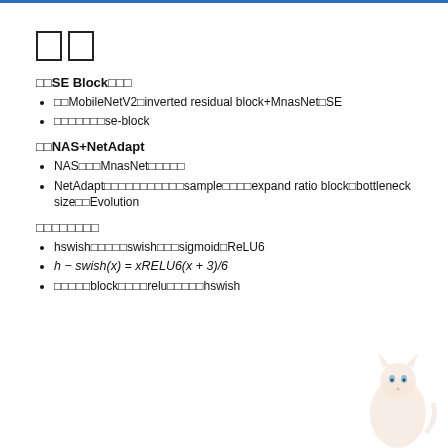□□
□□SE Block□□□
□□MobileNetV2□inverted residual block+MnasNet□SE
□□□□□□□se-block
□□NAS+NetAdapt
NAS□□□MnasNet□□□□□
NetAdapt□□□□□□□□□□□sample□□□□expand ratio block□bottleneck size□□Evolution
□□□□□□□□
hswish□□□□□swish□□□sigmoid□ReLU6
h − swish(x) = xRELU6(x + 3)/6
□□□□□block□□□□relu□□□□□hswish